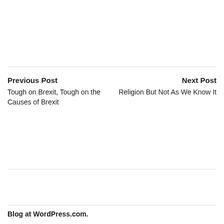Previous Post
Tough on Brexit, Tough on the Causes of Brexit
Next Post
Religion But Not As We Know It
Blog at WordPress.com.